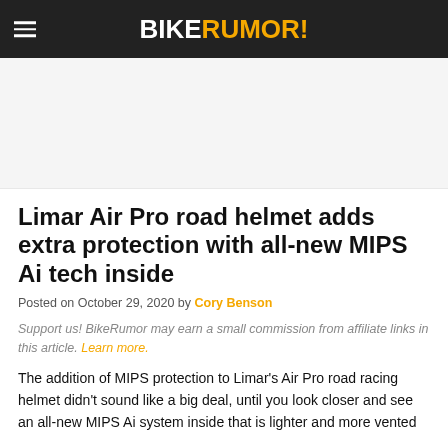BIKERUMOR!
[Figure (other): Advertisement placeholder area]
Limar Air Pro road helmet adds extra protection with all-new MIPS Ai tech inside
Posted on October 29, 2020 by Cory Benson
Support us! BikeRumor may earn a small commission from affiliate links in this article. Learn more.
The addition of MIPS protection to Limar's Air Pro road racing helmet didn't sound like a big deal, until you look closer and see an all-new MIPS Ai system inside that is lighter and more vented